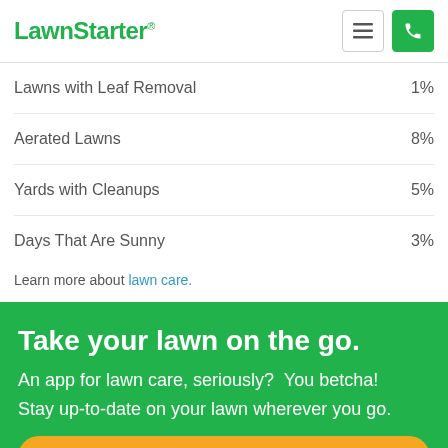LawnStarter
|  |  |
| --- | --- |
| Lawns with Leaf Removal | 1% |
| Aerated Lawns | 8% |
| Yards with Cleanups | 5% |
| Days That Are Sunny | 3% |
Learn more about lawn care.
Take your lawn on the go.
An app for lawn care, seriously?  You betcha! Stay up-to-date on your lawn wherever you go.
GET AN INSTANT PRICE
App Store   Google Play